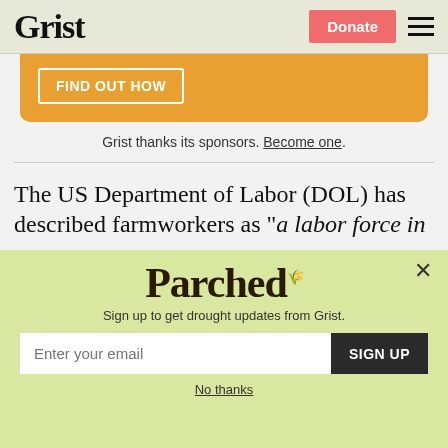Grist
[Figure (other): Orange banner with FIND OUT HOW button]
Grist thanks its sponsors. Become one.
The US Department of Labor (DOL) has described farmworkers as “a labor force in
[Figure (other): Parched newsletter signup modal with email input and SIGN UP button]
No thanks